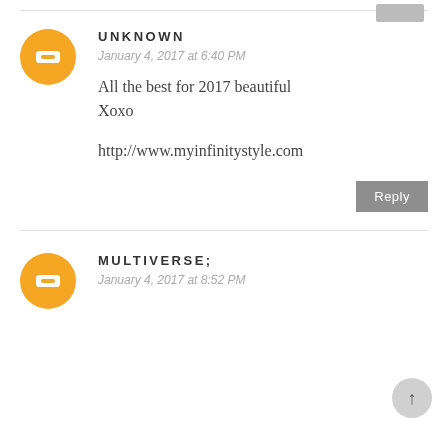UNKNOWN
January 4, 2017 at 6:40 PM
All the best for 2017 beautiful
Xoxo

http://www.myinfinitystyle.com
Reply
MULTIVERSE;
January 4, 2017 at 8:52 PM